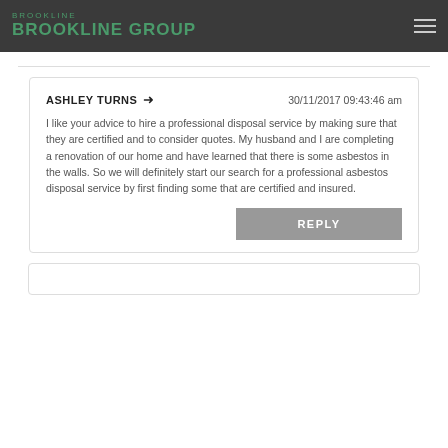Brookline Group
ASHLEY TURNS → 30/11/2017 09:43:46 am

I like your advice to hire a professional disposal service by making sure that they are certified and to consider quotes. My husband and I are completing a renovation of our home and have learned that there is some asbestos in the walls. So we will definitely start our search for a professional asbestos disposal service by first finding some that are certified and insured.
REPLY